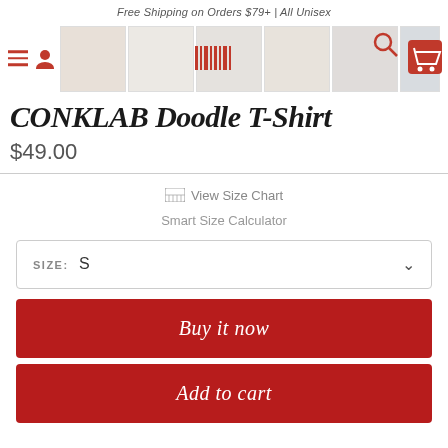Free Shipping on Orders $79+ | All Unisex
[Figure (screenshot): Row of product thumbnail images for CONKLAB Doodle T-Shirt with hamburger menu, user icon, search icon, and cart icon overlaid]
CONKLAB Doodle T-Shirt
$49.00
View Size Chart
Smart Size Calculator
SIZE:  S
Buy it now
Add to cart